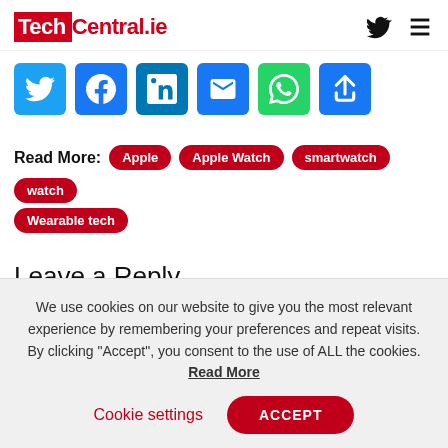TechCentral.ie
[Figure (other): Social share icons: Twitter, Facebook, LinkedIn, Email, WhatsApp, Share]
Read More: Apple  Apple Watch  smartwatch  watch  Wearable tech
Leave a Reply
You must be logged in to post a comment.
We use cookies on our website to give you the most relevant experience by remembering your preferences and repeat visits. By clicking “Accept”, you consent to the use of ALL the cookies. Read More
Cookie settings  ACCEPT